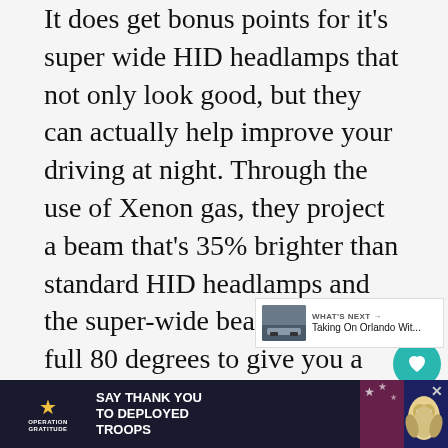It does get bonus points for it's super wide HID headlamps that not only look good, but they can actually help improve your driving at night. Through the use of Xenon gas, they project a beam that's 35% brighter than standard HID headlamps and the super-wide beams span a full 80 degrees to give you a more complete view of the road. (It's all about safety, remember?)
My only other complaint was that the rear se... p... in
[Figure (screenshot): UI overlay: heart/like button (teal circle with heart icon), count badge showing '1', and share button (circle with share icon)]
[Figure (screenshot): What's Next panel with thumbnail image of car, label 'WHAT'S NEXT →', and title 'Taking On Orlando Wit...']
[Figure (screenshot): Advertisement banner: Operation Gratitude 'SAY THANK YOU TO DEPLOYED TROOPS' with patriotic imagery and owl mascot graphic, close button X]